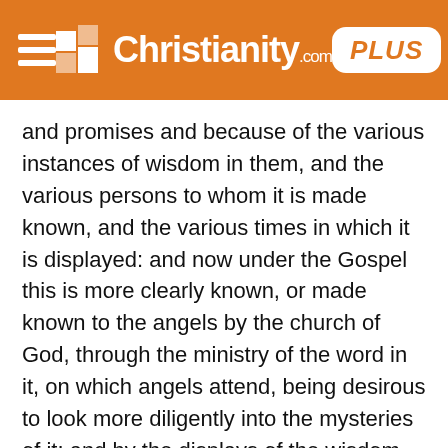iChristianity.com PLUS
and promises and because of the various instances of wisdom in them, and the various persons to whom it is made known, and the various times in which it is displayed: and now under the Gospel this is more clearly known, or made known to the angels by the church of God, through the ministry of the word in it, on which angels attend, being desirous to look more diligently into the mysteries of it; and by the displays of the wisdom and grace of God unto his church and people.
Verse 11. According to the eternal purpose,.... The whole of salvation, in which is displayed the great wisdom of God, is according to a purpose of his; the scheme of it is fixed in the council of peace; the